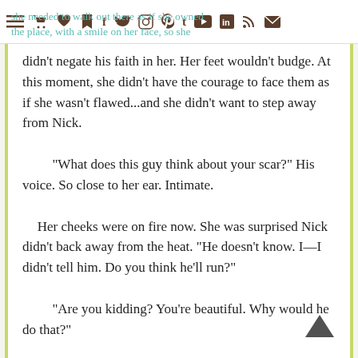she needed to walk out there as if she owned the place, with a smile on her face, so she
didn't negate his faith in her. Her feet wouldn't budge. At this moment, she didn't have the courage to face them as if she wasn't flawed...and she didn't want to step away from Nick.

"What does this guy think about your scar?" His voice. So close to her ear. Intimate.

Her cheeks were on fire now. She was surprised Nick didn't back away from the heat. "He doesn't know. I—I didn't tell him. Do you think he'll run?"

"Are you kidding? You're beautiful. Why would he do that?"

"You have to say that. You're standing in my kitchen." With me practically in your